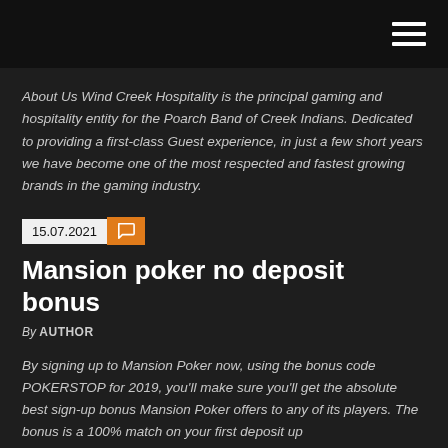About Us Wind Creek Hospitality is the principal gaming and hospitality entity for the Poarch Band of Creek Indians. Dedicated to providing a first-class Guest experience, in just a few short years we have become one of the most respected and fastest growing brands in the gaming industry.
15.07.2021
Mansion poker no deposit bonus
By AUTHOR
By signing up to Mansion Poker now, using the bonus code POKERSTOP for 2019, you'll make sure you'll get the absolute best sign-up bonus Mansion Poker offers to any of its players. The bonus is a 100% match on your first deposit up